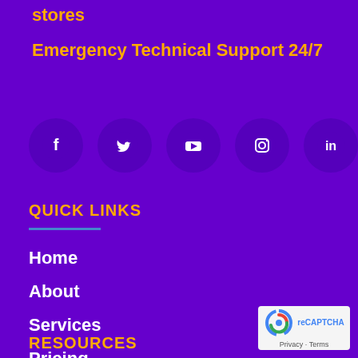stores
Emergency Technical Support 24/7
[Figure (illustration): Row of five social media icon buttons (Facebook, Twitter, YouTube, Instagram, LinkedIn) as dark purple circles with white icons]
QUICK LINKS
Home
About
Services
Pricing
Contact
RESOURCES
[Figure (logo): Google reCAPTCHA badge with privacy and terms links]